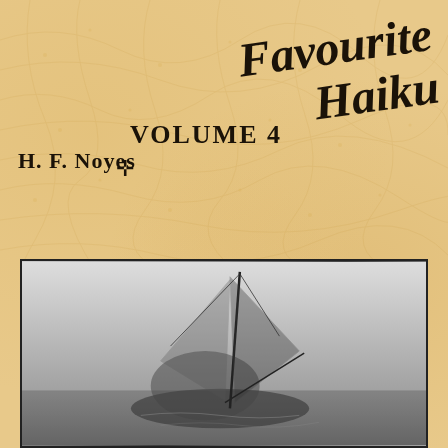Favourite Haiku
Volume 4
H. F. Noyes
[Figure (photo): Black and white photograph of a sailboat silhouette on water, with mast and rigging visible against a light sky background]